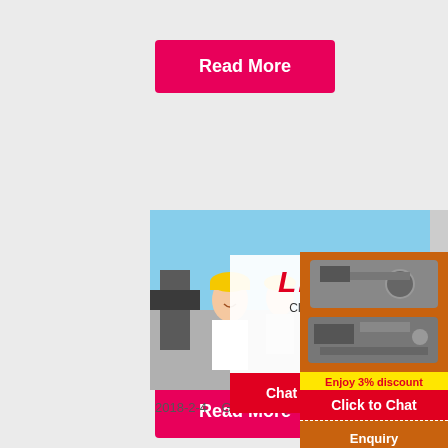[Figure (other): Pink/red Read More button at top]
[Figure (photo): Construction workers wearing yellow hard hats at a job site, with a Live Chat popup overlay showing red LIVE CHAT text, 'Click for a Free Consultation', Chat now and Chat later buttons]
[Figure (other): Orange sidebar panel showing mining/crushing equipment images, yellow discount banner 'Enjoy 3% discount', red 'Click to Chat' button, dashed Enquiry section, and limingjlmofen@sina.com contact]
Tend
2018-2-4    Gold mine project. ZMDCEOl...
[Figure (other): Pink/red Read More button at bottom]